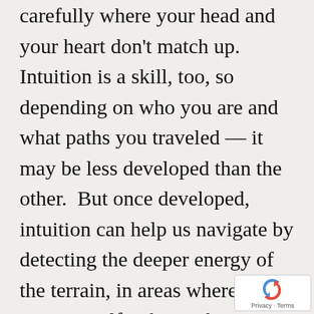carefully where your head and your heart don't match up. Intuition is a skill, too, so depending on who you are and what paths you traveled — it may be less developed than the other. But once developed, intuition can help us navigate by detecting the deeper energy of the terrain, in areas where logic can tie itself in knots that it can't get out of. Of course, the ideal is that you explore every situation until both sides come together to point to a
[Figure (logo): Google reCAPTCHA badge with recycling-arrow icon and Privacy · Terms text]